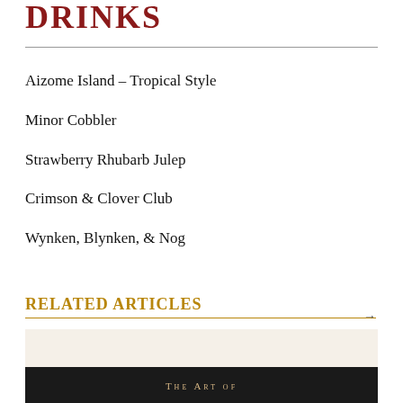Drinks
Aizome Island – Tropical Style
Minor Cobbler
Strawberry Rhubarb Julep
Crimson & Clover Club
Wynken, Blynken, & Nog
Related Articles
[Figure (photo): Book cover or article image showing 'The Art of' text on a dark bar with light background above]